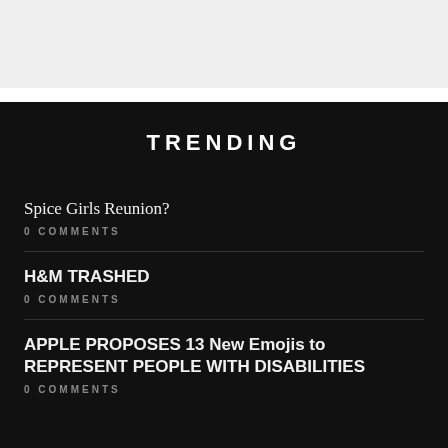TRENDING
Spice Girls Reunion?
0 COMMENTS
H&M TRASHED
0 COMMENTS
APPLE PROPOSES 13 New Emojis to REPRESENT PEOPLE WITH DISABILITIES
0 COMMENTS